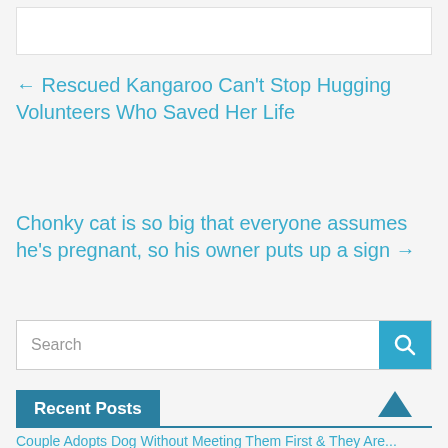← Rescued Kangaroo Can't Stop Hugging Volunteers Who Saved Her Life
Chonky cat is so big that everyone assumes he's pregnant, so his owner puts up a sign →
Search
Recent Posts
Couple Adopts Dog Without Meeting Them First & They Are...